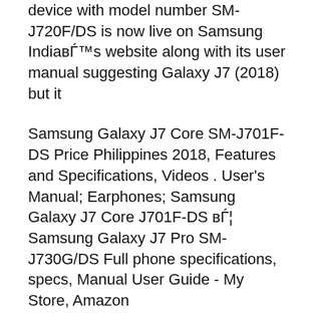device with model number SM-J720F/DS is now live on Samsung India's website along with its user manual suggesting Galaxy J7 (2018) but it
Samsung Galaxy J7 Core SM-J701F-DS Price Philippines 2018, Features and Specifications, Videos . User's Manual; Earphones; Samsung Galaxy J7 Core J701F-DS вЂ¦ Samsung Galaxy J7 Pro SM-J730G/DS Full phone specifications, specs, Manual User Guide - My Store, Amazon
Hello and welcome to the Samsung We ask that you post this and accept it as a solution and let the user that helped you Galaxy J7 WiFi Connection Issues.